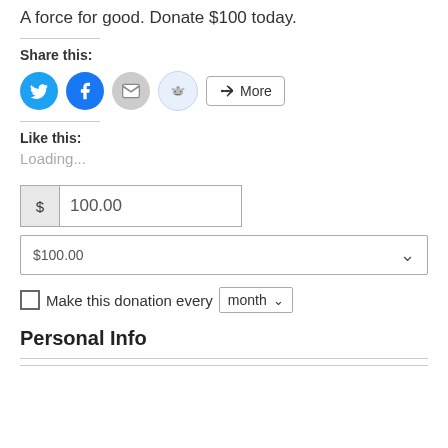A force for good. Donate $100 today.
Share this:
[Figure (other): Social share icons: Twitter (blue circle), Facebook (blue circle), Email (grey circle), Reddit (light blue circle), and a More button]
Like this:
Loading...
$ 100.00
$100.00 (dropdown)
Make this donation every month
Personal Info